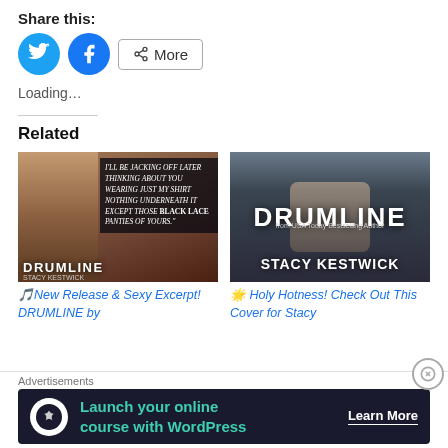Share this:
[Figure (other): Social share buttons: Twitter (blue circle with bird icon), Facebook (blue circle with f icon), and a More button with share icon]
Loading...
Related
[Figure (other): Book cover for DRUMLINE by Stacy Kestwick with overlay text about black lace panties]
🎵 New Release & Sexy Excerpt! DRUMLINE by
[Figure (other): Book cover for DRUMLINE by Stacy Kestwick showing muscular torso]
🌟 Holy Hotness! Check Out This Cover for Stacy
Advertisements
[Figure (other): Advertisement: Launch your online course with WordPress - Learn More button]